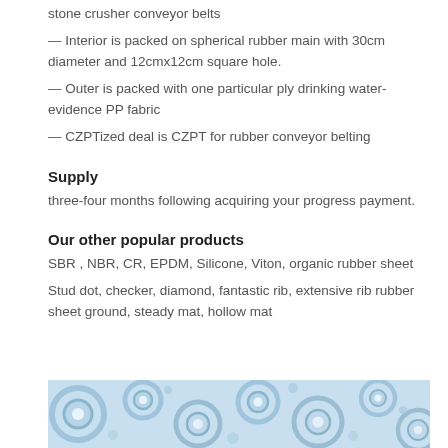stone crusher conveyor belts
— Interior is packed on spherical rubber main with 30cm diameter and 12cmx12cm square hole.
— Outer is packed with one particular ply drinking water-evidence PP fabric
— CZPTized deal is CZPT for rubber conveyor belting
Supply
three-four months following acquiring your progress payment.
Our other popular products
SBR , NBR, CR, EPDM, Silicone, Viton, organic rubber sheet
Stud dot, checker, diamond, fantastic rib, extensive rib rubber sheet ground, steady mat, hollow mat
[Figure (illustration): Decorative blue and white patterned background image with gear-like and floral motifs, partially visible at the bottom of the page.]